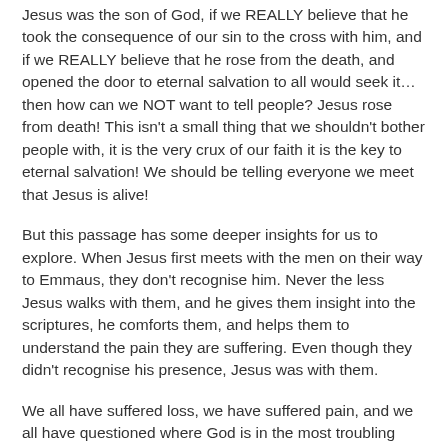Jesus was the son of God, if we REALLY believe that he took the consequence of our sin to the cross with him, and if we REALLY believe that he rose from the death, and opened the door to eternal salvation to all would seek it… then how can we NOT want to tell people? Jesus rose from death! This isn't a small thing that we shouldn't bother people with, it is the very crux of our faith it is the key to eternal salvation! We should be telling everyone we meet that Jesus is alive!
But this passage has some deeper insights for us to explore. When Jesus first meets with the men on their way to Emmaus, they don't recognise him. Never the less Jesus walks with them, and he gives them insight into the scriptures, he comforts them, and helps them to understand the pain they are suffering. Even though they didn't recognise his presence, Jesus was with them.
We all have suffered loss, we have suffered pain, and we all have questioned where God is in the most troubling times in our lives. This scripture tells us where God is – Jesus is walking with us, he is available to comfort us, he will guide us and walk with us just as he does with these two men in our Gospel account. We need to